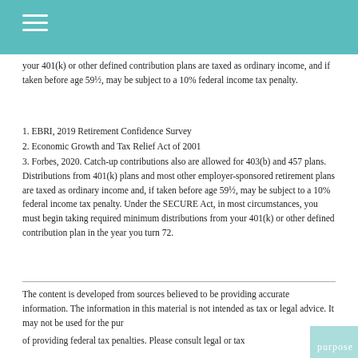your 401(k) or other defined contribution plans are taxed as ordinary income, and if taken before age 59½, may be subject to a 10% federal income tax penalty.
1. EBRI, 2019 Retirement Confidence Survey
2. Economic Growth and Tax Relief Act of 2001
3. Forbes, 2020. Catch-up contributions also are allowed for 403(b) and 457 plans. Distributions from 401(k) plans and most other employer-sponsored retirement plans are taxed as ordinary income and, if taken before age 59½, may be subject to a 10% federal income tax penalty. Under the SECURE Act, in most circumstances, you must begin taking required minimum distributions from your 401(k) or other defined contribution plan in the year you turn 72.
The content is developed from sources believed to be providing accurate information. The information in this material is not intended as tax or legal advice. It may not be used for the purpose of avoiding any federal tax penalties. Please consult legal or tax professionals for specific information regarding your individual situation.